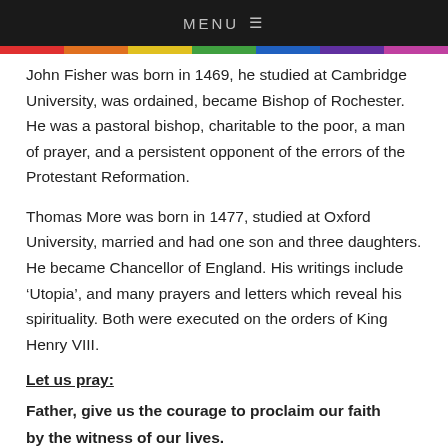MENU ≡
John Fisher was born in 1469, he studied at Cambridge University, was ordained, became Bishop of Rochester. He was a pastoral bishop, charitable to the poor, a man of prayer, and a persistent opponent of the errors of the Protestant Reformation.
Thomas More was born in 1477, studied at Oxford University, married and had one son and three daughters. He became Chancellor of England. His writings include 'Utopia', and many prayers and letters which reveal his spirituality. Both were executed on the orders of King Henry VIII.
Let us pray:
Father, give us the courage to proclaim our faith by the witness of our lives.